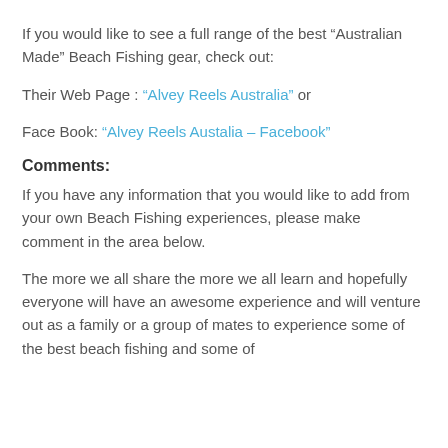If you would like to see a full range of the best “Australian Made” Beach Fishing gear, check out:
Their Web Page : “Alvey Reels Australia” or
Face Book: “Alvey Reels Austalia – Facebook”
Comments:
If you have any information that you would like to add from your own Beach Fishing experiences, please make comment in the area below.
The more we all share the more we all learn and hopefully everyone will have an awesome experience and will venture out as a family or a group of mates to experience some of the best beach fishing and some of